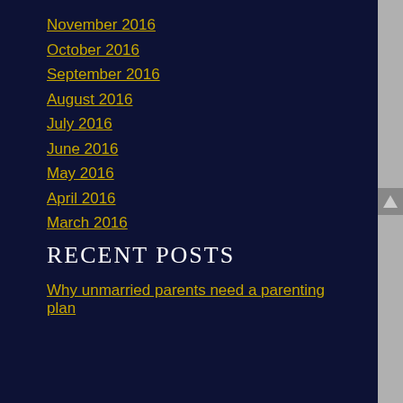November 2016
October 2016
September 2016
August 2016
July 2016
June 2016
May 2016
April 2016
March 2016
RECENT POSTS
Why unmarried parents need a parenting plan